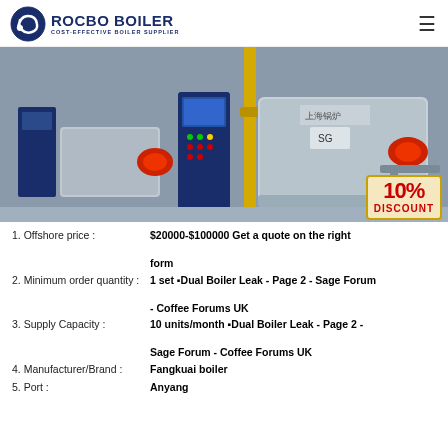[Figure (logo): Rocbo Boiler logo with circular emblem and text 'ROCBO BOILER / COST-EFFECTIVE BOILER SUPPLIER']
[Figure (photo): Industrial boiler room with two large horizontal boilers, control panels, red burners, blue electrical panels, and yellow gas pipes. A 10% DISCOUNT badge is overlaid in the bottom right corner.]
1. Offshore price : $20000-$100000 Get a quote on the right form
2. Minimum order quantity : 1 set ⬛Dual Boiler Leak - Page 2 - Sage Forum - Coffee Forums UK
3. Supply Capacity : 10 units/month ⬛Dual Boiler Leak - Page 2 - Sage Forum - Coffee Forums UK
4. Manufacturer/Brand : Fangkuai boiler
5. Port : Anyang